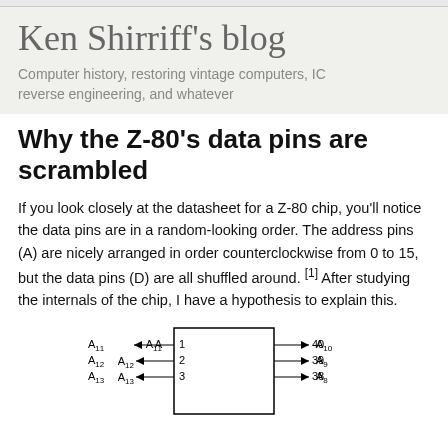Ken Shirriff's blog
Computer history, restoring vintage computers, IC reverse engineering, and whatever
Why the Z-80's data pins are scrambled
If you look closely at the datasheet for a Z-80 chip, you'll notice the data pins are in a random-looking order. The address pins (A) are nicely arranged in order counterclockwise from 0 to 15, but the data pins (D) are all shuffled around. [1] After studying the internals of the chip, I have a hypothesis to explain this.
[Figure (schematic): Z-80 chip pin diagram showing address pins A11, A12, A13 on the left side connected to pins 1, 2, 3, and address pins A10, A9, A8 on the right side connected to pins 40, 39, 38]